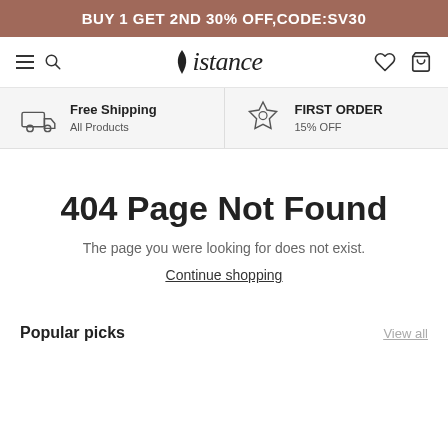BUY 1 GET 2ND 30% OFF,CODE:SV30
[Figure (screenshot): Navigation bar with hamburger menu, search icon, Distance logo, heart icon, and shopping bag icon]
Free Shipping All Products
FIRST ORDER 15% OFF
404 Page Not Found
The page you were looking for does not exist.
Continue shopping
Popular picks
View all